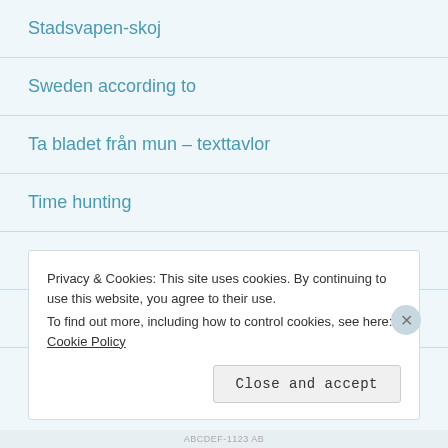Stadsvapen-skoj
Sweden according to
Ta bladet från mun – texttavlor
Time hunting
Trafic signs/Trafikskyltar i fantasin
Trosa förbifart/Infart Västra
Privacy & Cookies: This site uses cookies. By continuing to use this website, you agree to their use.
To find out more, including how to control cookies, see here: Cookie Policy
Close and accept
ABCDEF-1123 AB